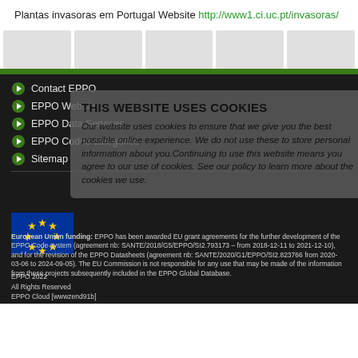Plantas invasoras em Portugal Website http://www1.ci.uc.pt/invasoras/
Contact EPPO
EPPO Website
EPPO Data Services
EPPO Codes categories
Sitemap
[Figure (screenshot): Cookie consent overlay dialog on dark EPPO website background. Title: THIS WEBSITE USES COOKIES. Body: Our website uses cookies to ensure that we give you the best possible online experience. We do not use these to store personal information about you. Continuing to use this website means you agree to our use of cookies. See our policy to learn more about the cookies we use.]
European Union funding: EPPO has been awarded EU grant agreements for the further development of the EPPO Code system (agreement nb: SANTE/2018/G5/EPPO/SI2.793173 – from 2018-12-11 to 2021-12-10), and for the revision of the EPPO Datasheets (agreement nb: SANTE/2020/G1/EPPO/SI2.823766 from 2020-03-06 to 2024-09-05). The EU Commission is not responsible for any use that may be made of the information from these projects subsequently included in the EPPO Global Database.
EPPO 2022
All Rights Reserved
EPPO Cloud [wwwzend91b]